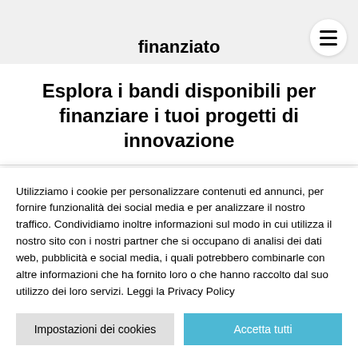finanziato
Esplora i bandi disponibili per finanziare i tuoi progetti di innovazione
Utilizziamo i cookie per personalizzare contenuti ed annunci, per fornire funzionalità dei social media e per analizzare il nostro traffico. Condividiamo inoltre informazioni sul modo in cui utilizza il nostro sito con i nostri partner che si occupano di analisi dei dati web, pubblicità e social media, i quali potrebbero combinarle con altre informazioni che ha fornito loro o che hanno raccolto dal suo utilizzo dei loro servizi. Leggi la Privacy Policy
Impostazioni dei cookies
Accetta tutti